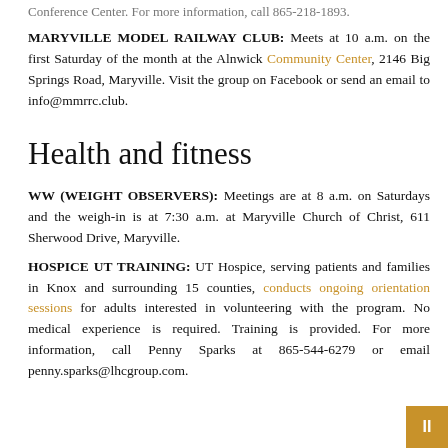Conference Center. For more information, call 865-218-1893.
MARYVILLE MODEL RAILWAY CLUB: Meets at 10 a.m. on the first Saturday of the month at the Alnwick Community Center, 2146 Big Springs Road, Maryville. Visit the group on Facebook or send an email to info@mmrrc.club.
Health and fitness
WW (WEIGHT OBSERVERS): Meetings are at 8 a.m. on Saturdays and the weigh-in is at 7:30 a.m. at Maryville Church of Christ, 611 Sherwood Drive, Maryville.
HOSPICE UT TRAINING: UT Hospice, serving patients and families in Knox and surrounding 15 counties, conducts ongoing orientation sessions for adults interested in volunteering with the program. No medical experience is required. Training is provided. For more information, call Penny Sparks at 865-544-6279 or email penny.sparks@lhcgroup.com.